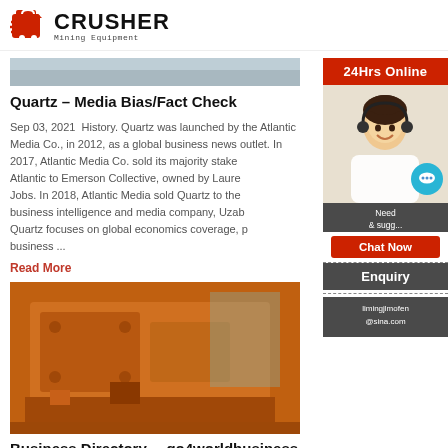CRUSHER Mining Equipment
[Figure (photo): Top cropped image strip, grey/snowy scene]
Quartz – Media Bias/Fact Check
Sep 03, 2021  History. Quartz was launched by the Atlantic Media Co., in 2012, as a global business news outlet. In 2017, Atlantic Media Co. sold its majority stake of Quartz Atlantic to Emerson Collective, owned by Laurene Powell Jobs. In 2018, Atlantic Media sold Quartz to the business intelligence and media company, Uzab… Quartz focuses on global economics coverage, p… business ...
Read More
[Figure (photo): Orange industrial crusher machine]
Business Directory. – go4worldbusiness
[Figure (infographic): Right side panel: 24Hrs Online, customer service photo with chat bubble, Need & suggestions Chat Now button, Enquiry section, limingjlmofen@sina.com]